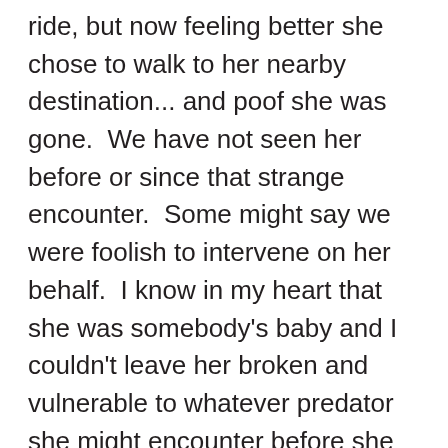ride, but now feeling better she chose to walk to her nearby destination... and poof she was gone.  We have not seen her before or since that strange encounter.  Some might say we were foolish to intervene on her behalf.  I know in my heart that she was somebody's baby and I couldn't leave her broken and vulnerable to whatever predator she might encounter before she could pull herself together.  I hope if I am ever that broken and vulnerable that someone would have that same kind of compassion for me.  I am not saying we should hug total strangers on a regular basis, and you definitely need to be careful who you invite into your home.  What I